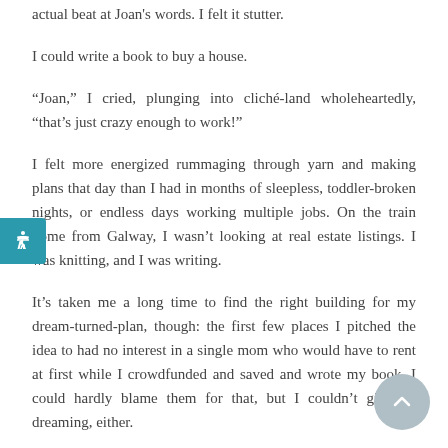actual beat at Joan's words. I felt it stutter.
I could write a book to buy a house.
“Joan,” I cried, plunging into cliché-land wholeheartedly, “that’s just crazy enough to work!”
I felt more energized rummaging through yarn and making plans that day than I had in months of sleepless, toddler-broken nights, or endless days working multiple jobs. On the train home from Galway, I wasn’t looking at real estate listings. I was knitting, and I was writing.
It’s taken me a long time to find the right building for my dream-turned-plan, though: the first few places I pitched the idea to had no interest in a single mom who would have to rent at first while I crowdfunded and saved and wrote my book. I could hardly blame them for that, but I couldn’t give up dreaming, either.